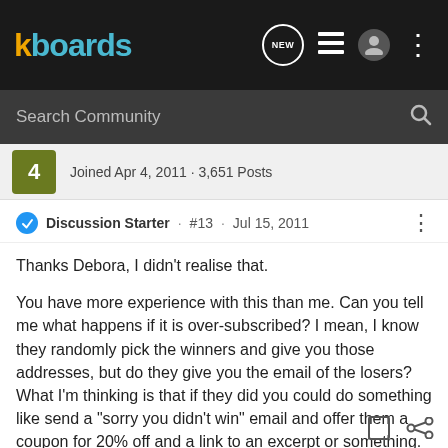[Figure (logo): kboards logo in orange and teal on dark navbar]
Search Community
Joined Apr 4, 2011 · 3,651 Posts
Discussion Starter · #13 · Jul 15, 2011
Thanks Debora, I didn't realise that.
You have more experience with this than me. Can you tell me what happens if it is over-subscribed? I mean, I know they randomly pick the winners and give you those addresses, but do they give you the email of the losers? What I'm thinking is that if they did you could do something like send a "sorry you didn't win" email and offer them a coupon for 20% off and a link to an excerpt or something.